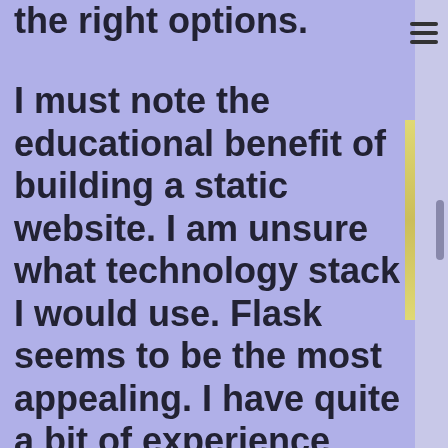the right options.
I must note the educational benefit of building a static website. I am unsure what technology stack I would use. Flask seems to be the most appealing. I have quite a bit of experience with Flask and so I could probably get quite far in a short period of time. This is speculation. When I look at what I would need to do to set up a Flask site. I see tons of